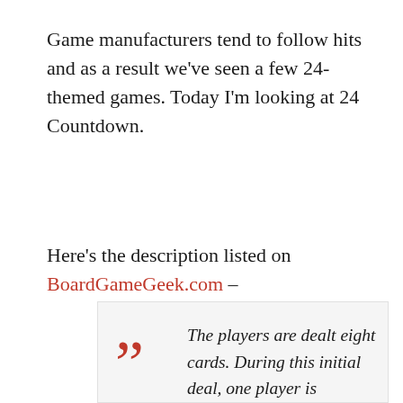Game manufacturers tend to follow hits and as a result we've seen a few 24-themed games. Today I'm looking at 24 Countdown.
Here's the description listed on BoardGameGeek.com –
The players are dealt eight cards. During this initial deal, one player is assigned the role of terrorist. There are twenty-four rounds of gameplay. Each round tells the players which suit must be played in order to win the trick. The Jack Bauer Card is wild and wins any trick. A player who wins a trick must either draw and keep two